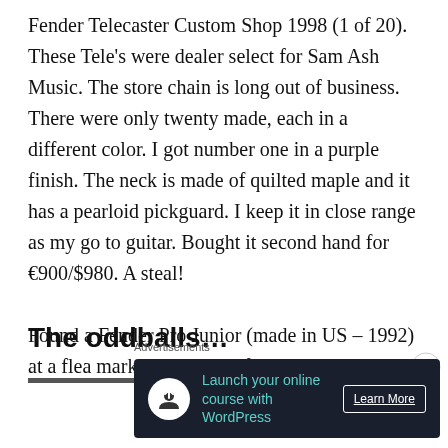Fender Telecaster Custom Shop 1998 (1 of 20). These Tele's were dealer select for Sam Ash Music. The store chain is long out of business. There were only twenty made, each in a different color. I got number one in a purple finish. The neck is made of quilted maple and it has a pearloid pickguard. I keep it in close range as my go to guitar. Bought it second hand for €900/$980. A steal!

Found a Fender Pro Junior (made in US – 1992) at a flea market. Works perfect, only 50 euros.
The oddballs…
[Figure (other): Partial image strip visible at bottom of content area, showing dark horizontal bars]
Advertisements
[Figure (other): Advertisement banner: dark background with circular white icon (person/upload symbol), teal text 'Launch your online course with WordPress', and 'Learn More' button with white border]